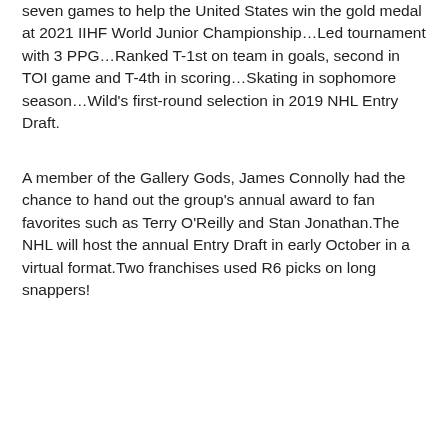seven games to help the United States win the gold medal at 2021 IIHF World Junior Championship…Led tournament with 3 PPG…Ranked T-1st on team in goals, second in TOI game and T-4th in scoring…Skating in sophomore season…Wild's first-round selection in 2019 NHL Entry Draft.
A member of the Gallery Gods, James Connolly had the chance to hand out the group's annual award to fan favorites such as Terry O'Reilly and Stan Jonathan.The NHL will host the annual Entry Draft in early October in a virtual format.Two franchises used R6 picks on long snappers!